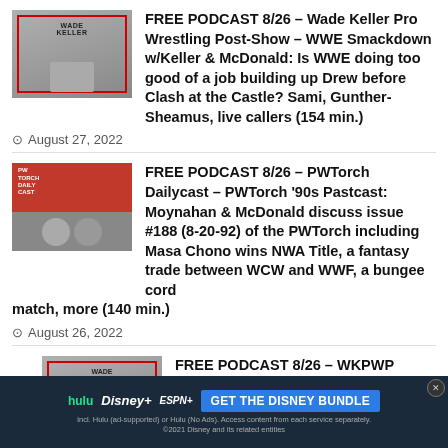[Figure (illustration): Wade Keller podcast thumbnail image with red border and text WADE KELLER]
FREE PODCAST 8/26 – Wade Keller Pro Wrestling Post-Show – WWE Smackdown w/Keller & McDonald: Is WWE doing too good of a job building up Drew before Clash at the Castle? Sami, Gunther-Sheamus, live callers (154 min.)
August 27, 2022
[Figure (illustration): PWTorch Daily Cast podcast thumbnail with two hosts]
FREE PODCAST 8/26 – PWTorch Dailycast – PWTorch '90s Pastcast: Moynahan & McDonald discuss issue #188 (8-20-92) of the PWTorch including Masa Chono wins NWA Title, a fantasy trade between WCW and WWF, a bungee cord match, more (140 min.)
August 26, 2022
[Figure (illustration): Wade Keller podcast thumbnail, third entry]
FREE PODCAST 8/26 – WKPWP Flagship from 5 Yrs Ago: Keller & Sam Roberts talk Cena's strange demeanor and lack of chemistry with Reigns, Adam Cole arrives, Beach Balls,Ponderson SD,
August
[Figure (advertisement): Disney Bundle advertisement banner with Hulu, Disney+, ESPN+ logos and GET THE DISNEY BUNDLE CTA]